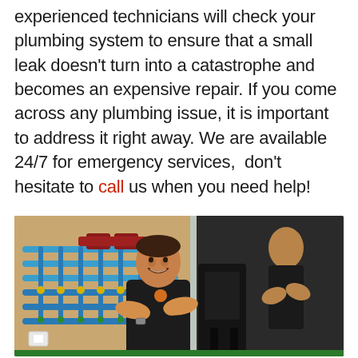experienced technicians will check your plumbing system to ensure that a small leak doesn't turn into a catastrophe and becomes an expensive repair. If you come across any plumbing issue, it is important to address it right away. We are available 24/7 for emergency services,  don't hesitate to call us when you need help!
[Figure (photo): A smiling male plumber in a black uniform standing with arms crossed in a plumbing showroom, with colorful blue and teal pipe manifolds mounted on a wooden wall behind him, and a glass panel to his right reflecting another person.]